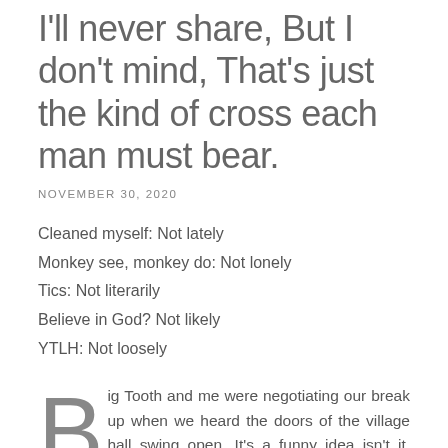I'll never share, But I don't mind, That's just the kind of cross each man must bear.
NOVEMBER 30, 2020
Cleaned myself: Not lately
Monkey see, monkey do: Not lonely
Tics: Not literarily
Believe in God? Not likely
YTLH: Not loosely
Big Tooth and me were negotiating our break up when we heard the doors of the village hall swing open. It's a funny idea isn't it, negotiating your way out of a relationship? Who wouldn't, when they learned that their partner was